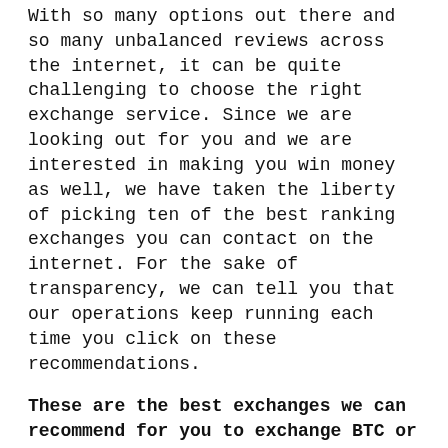With so many options out there and so many unbalanced reviews across the internet, it can be quite challenging to choose the right exchange service. Since we are looking out for you and we are interested in making you win money as well, we have taken the liberty of picking ten of the best ranking exchanges you can contact on the internet. For the sake of transparency, we can tell you that our operations keep running each time you click on these recommendations.
These are the best exchanges we can recommend for you to exchange BTC or ETH or USDT with Splintershards:
GATE.io